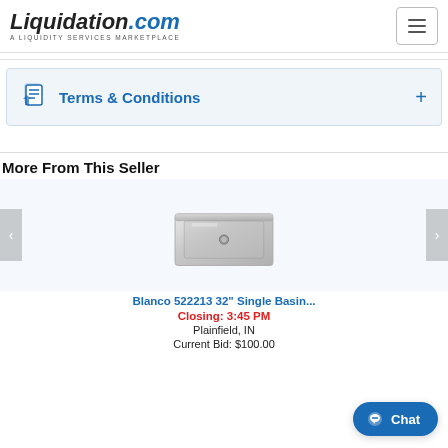[Figure (logo): Liquidation.com logo with tagline 'A LIQUIDITY SERVICES MARKETPLACE']
Terms & Conditions
More From This Seller
[Figure (photo): Blanco 522213 32 inch Single Basin stainless steel kitchen sink]
Blanco 522213 32" Single Basin...
Closing: 3:45 PM
Plainfield, IN
Current Bid: $100.00